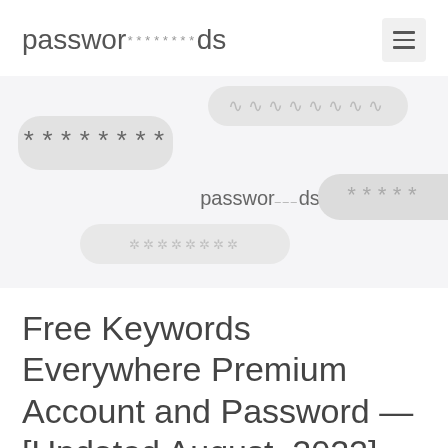passwords ******** ☰
[Figure (illustration): Hero section with password-themed bubbles showing asterisks, dots, and the word 'passwords' in various overlapping rounded pill shapes on a light grey background]
Free Keywords Everywhere Premium Account and Password — [Updated August, 2022]